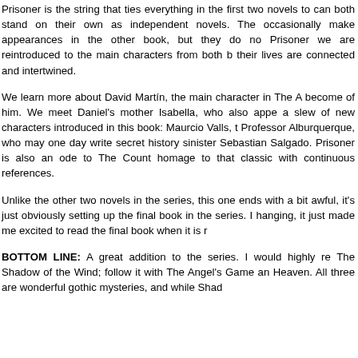Prisoner is the string that ties everything in the first two novels to can both stand on their own as independent novels. The occasionally make appearances in the other book, but they do no Prisoner we are reintroduced to the main characters from both b their lives are connected and intertwined.
We learn more about David Martín, the main character in The A become of him. We meet Daniel's mother Isabella, who also appe a slew of new characters introduced in this book: Maurcio Valls, t Professor Alburquerque, who may one day write secret history sinister Sebastian Salgado. Prisoner is also an ode to The Count homage to that classic with continuous references.
Unlike the other two novels in the series, this one ends with a bit awful, it's just obviously setting up the final book in the series. I hanging, it just made me excited to read the final book when it is r
BOTTOM LINE: A great addition to the series. I would highly re The Shadow of the Wind; follow it with The Angel's Game an Heaven. All three are wonderful gothic mysteries, and while Shad